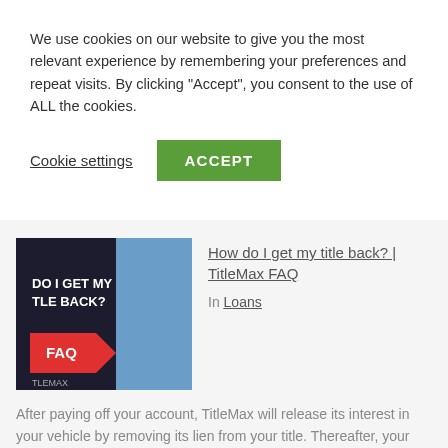We use cookies on our website to give you the most relevant experience by remembering your preferences and repeat visits. By clicking "Accept", you consent to the use of ALL the cookies.
Cookie settings  ACCEPT
How do I get my title back? | TitleMax FAQ
In Loans
[Figure (photo): Thumbnail image showing text 'DO I GET MY TLE BACK? FAQ' with a blue arrow and the TitleMax logo on a dark background]
After paying off your account, TitleMax will release its interest in your vehicle by removing its lien from your title. Thereafter, your title will be returned to you after it is processed by your state's department of motor vehicles. https://www.titlemax.com/faqs/ TitleMax is one the nation's [...]